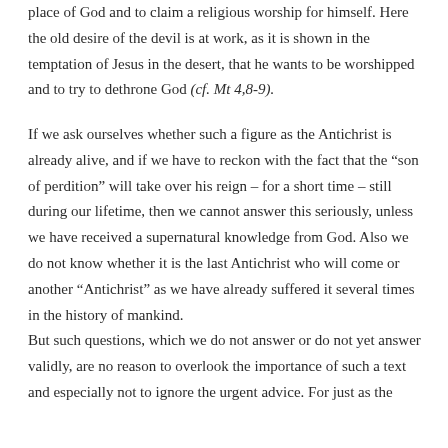place of God and to claim a religious worship for himself. Here the old desire of the devil is at work, as it is shown in the temptation of Jesus in the desert, that he wants to be worshipped and to try to dethrone God (cf. Mt 4,8-9).
If we ask ourselves whether such a figure as the Antichrist is already alive, and if we have to reckon with the fact that the “son of perdition” will take over his reign – for a short time – still during our lifetime, then we cannot answer this seriously, unless we have received a supernatural knowledge from God. Also we do not know whether it is the last Antichrist who will come or another “Antichrist” as we have already suffered it several times in the history of mankind.
But such questions, which we do not answer or do not yet answer validly, are no reason to overlook the importance of such a text and especially not to ignore the urgent advice. For just as the